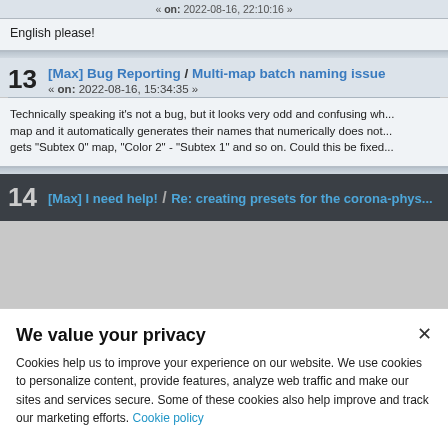« on: 2022-08-16, 22:10:16 »
English please!
13 [Max] Bug Reporting / Multi-map batch naming issue « on: 2022-08-16, 15:34:35 »
Technically speaking it's not a bug, but it looks very odd and confusing wh... map and it automatically generates their names that numerically does not... gets "Subtex 0" map, "Color 2" - "Subtex 1" and so on. Could this be fixed...
14 [Max] I need help! / Re: creating presets for the corona-phys...
We value your privacy
Cookies help us to improve your experience on our website. We use cookies to personalize content, provide features, analyze web traffic and make our sites and services secure. Some of these cookies also help improve and track our marketing efforts. Cookie policy